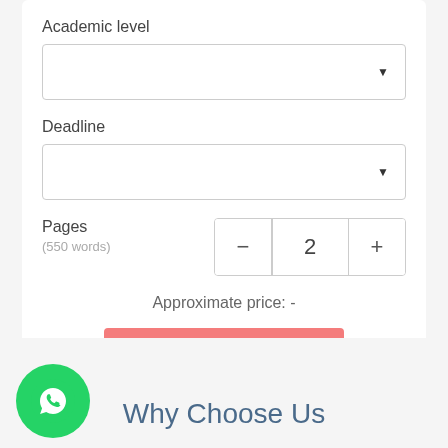Academic level
[Figure (screenshot): Dropdown select box for Academic level, empty with down arrow]
Deadline
[Figure (screenshot): Dropdown select box for Deadline, empty with down arrow]
Pages
(550 words)
[Figure (screenshot): Stepper control showing value 2 with minus and plus buttons]
Approximate price: -
CONTINUE TO ORDER
Why Choose Us